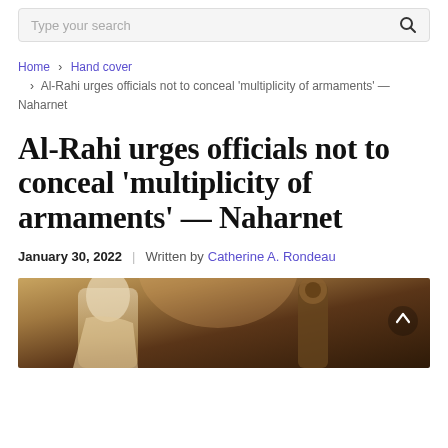Type your search
Home > Hand cover > Al-Rahi urges officials not to conceal 'multiplicity of armaments' — Naharnet
Al-Rahi urges officials not to conceal 'multiplicity of armaments' — Naharnet
January 30, 2022 | Written by Catherine A. Rondeau
[Figure (photo): Photo of a religious figure in ornate robes, partially visible, with decorative elements in the background]